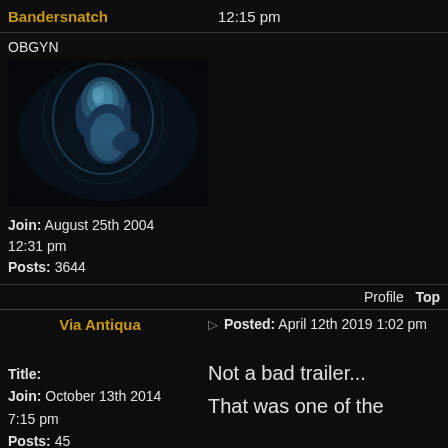Bandersnatch   12:15 pm
OBGYN
[Figure (photo): Forum user avatar showing a fetus/embryo in blue-tinted light against dark background]
Join: August 25th 2004 12:31 pm
Posts: 3644
Profile   Top
Via Antiqua   Posted: April 12th 2019 1:02 pm
Title:
Join: October 13th 2014 7:15 pm
Posts: 45
Not a bad trailer...
That was one of the